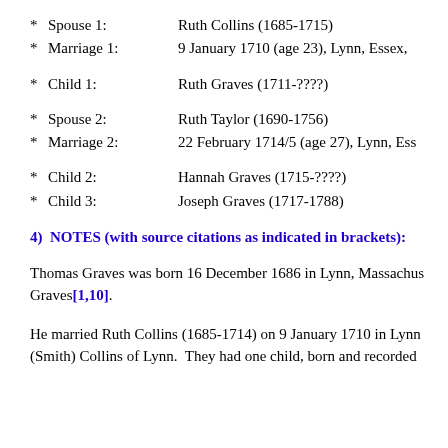* Spouse 1:    Ruth Collins (1685-1715)
* Marriage 1:  9 January 1710 (age 23), Lynn, Essex,
* Child 1:     Ruth Graves (1711-????)
* Spouse 2:    Ruth Taylor (1690-1756)
* Marriage 2:  22 February 1714/5 (age 27), Lynn, Ess
* Child 2:     Hannah Graves (1715-????)
* Child 3:     Joseph Graves (1717-1788)
4)  NOTES (with source citations as indicated in brackets):
Thomas Graves was born 16 December 1686 in Lynn, Massachusetts. Graves[1,10].
He married Ruth Collins (1685-1714) on 9 January 1710 in Lynn (Smith) Collins of Lynn.  They had one child, born and recorded